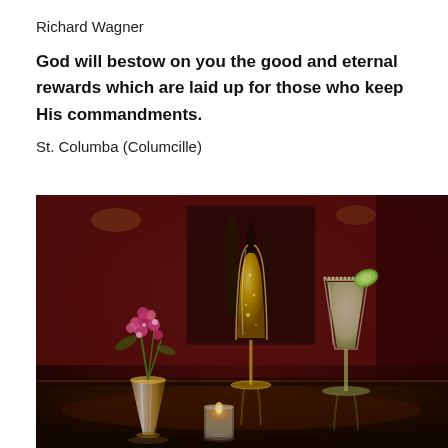Richard Wagner
God will bestow on you the good and eternal rewards which are laid up for those who keep His commandments.
St. Columba (Columcille)
[Figure (photo): Photo of cocktail glasses and a floral vase on a bar. A champagne flute filled with golden bubbly liquid, a martini glass with a lime garnish, and a crystal vase with pink flowers are arranged on a reflective dark bar surface. A small candle holder sits between them. The background is a warm, dimly lit bar interior with deep red walls.]